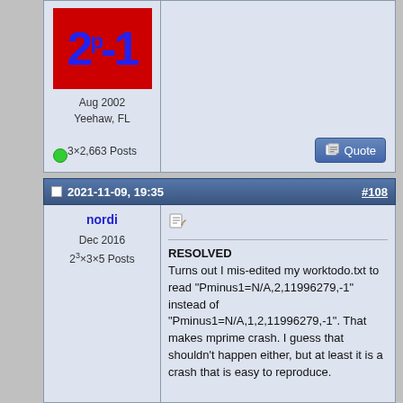[Figure (illustration): Forum avatar with red background showing '2^p-1' in blue bold text]
Aug 2002
Yeehaw, FL

3×2,663 Posts
2021-11-09, 19:35   #108
nordi
Dec 2016
2^3×3×5 Posts
RESOLVED
Turns out I mis-edited my worktodo.txt to read "Pminus1=N/A,2,11996279,-1" instead of "Pminus1=N/A,1,2,11996279,-1". That makes mprime crash. I guess that shouldn't happen either, but at least it is a crash that is easy to reproduce.

I had a crash today on build 5, so I updated to build 8 and got another crash